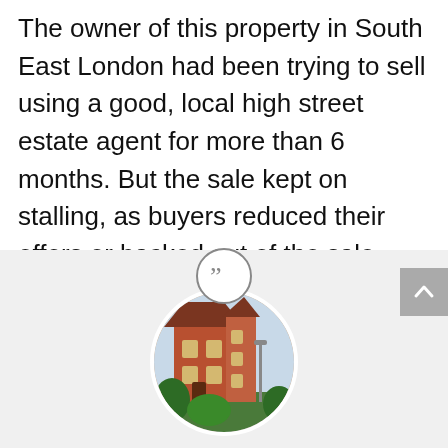The owner of this property in South East London had been trying to sell using a good, local high street estate agent for more than 6 months. But the sale kept on stalling, as buyers reduced their offers or backed out of the sale.
[Figure (illustration): Closing double-quotation mark icon inside a circle, above a gray testimonial section. Below is a circular photo of a red-brick Victorian house in South East London with trees and a lamppost.]